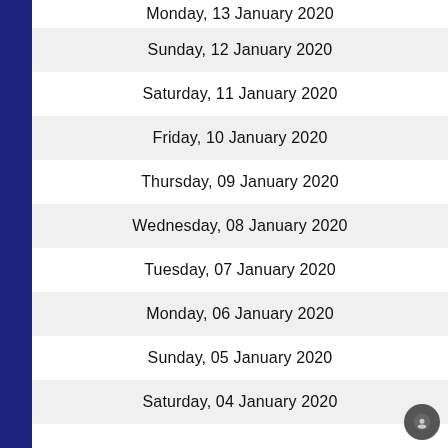Monday, 13 January 2020
Sunday, 12 January 2020
Saturday, 11 January 2020
Friday, 10 January 2020
Thursday, 09 January 2020
Wednesday, 08 January 2020
Tuesday, 07 January 2020
Monday, 06 January 2020
Sunday, 05 January 2020
Saturday, 04 January 2020